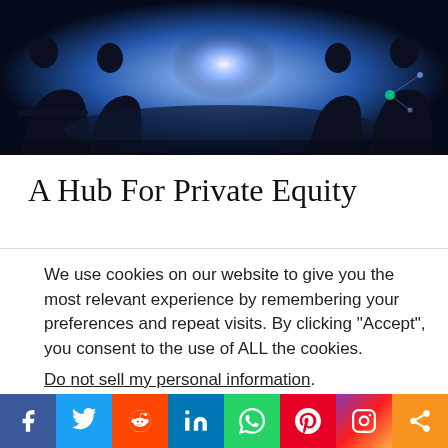[Figure (photo): Silhouettes of business people sitting around a conference table with a bright blue glowing light in the background, suggesting a high-tech or corporate setting.]
A Hub For Private Equity
We use cookies on our website to give you the most relevant experience by remembering your preferences and repeat visits. By clicking “Accept”, you consent to the use of ALL the cookies.
Do not sell my personal information.
[Figure (screenshot): Cookie consent buttons: 'Cookie Settings' (grey) and 'Accept' (dark navy blue)]
[Figure (infographic): Social sharing bar with icons for Facebook (blue), Twitter (light blue), Reddit (orange-red), LinkedIn (blue), WhatsApp (green), Pinterest (red), Instagram (gradient), and Share (orange).]